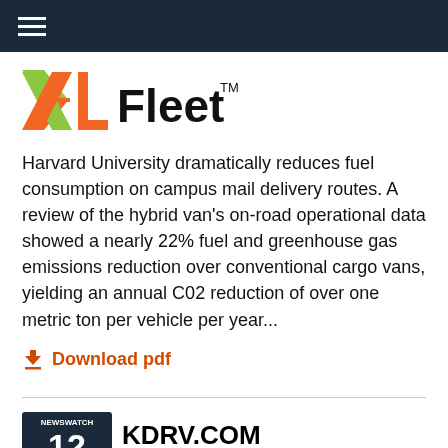Navigation bar with hamburger menu
[Figure (logo): XL Fleet logo with orange/yellow X and orange L, black Fleet text with TM mark]
Harvard University dramatically reduces fuel consumption on campus mail delivery routes. A review of the hybrid van's on-road operational data showed a nearly 22% fuel and greenhouse gas emissions reduction over conventional cargo vans, yielding an annual C02 reduction of over one metric ton per vehicle per year...
Download pdf
[Figure (logo): KDRV.COM Newswatch 12 logo with tagline Watching Out For You]